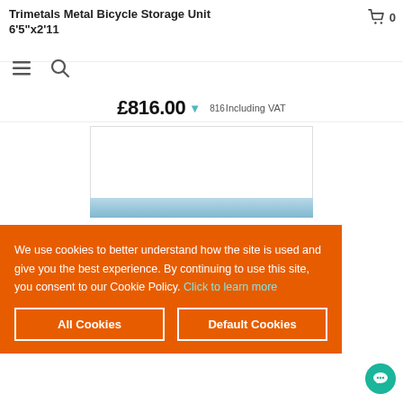Trimetals Metal Bicycle Storage Unit 6'5"x2'11
0
£816.00 816 Including VAT
[Figure (photo): White product image box (mostly empty/white) with partial blue sky photograph strip visible at bottom]
We use cookies to better understand how the site is used and give you the best experience. By continuing to use this site, you consent to our Cookie Policy. Click to learn more
All Cookies
Default Cookies